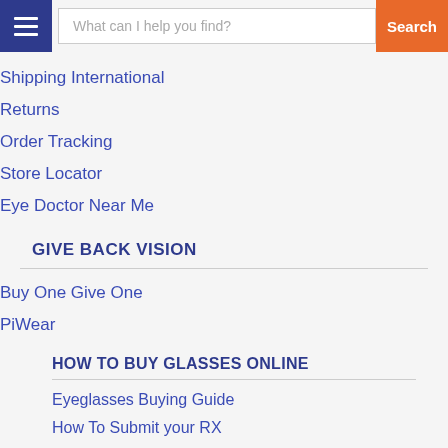What can I help you find? Search
Shipping International
Returns
Order Tracking
Store Locator
Eye Doctor Near Me
GIVE BACK VISION
Buy One Give One
PiWear
HOW TO BUY GLASSES ONLINE
Eyeglasses Buying Guide
How To Submit your RX
Coupons and Promotions
The Online Optician